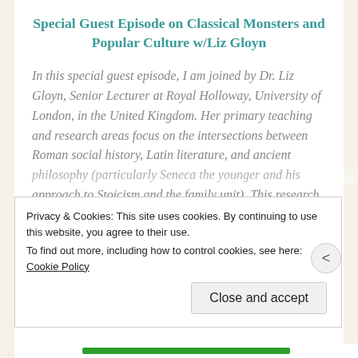**Special Guest Episode on Classical Monsters and Popular Culture w/Liz Gloyn**
In this special guest episode, I am joined by Dr. Liz Gloyn, Senior Lecturer at Royal Holloway, University of London, in the United Kingdom. Her primary teaching and research areas focus on the intersections between Roman social history, Latin literature, and ancient philosophy (particularly Seneca the younger and his approach to Stoicism and the family unit). This research led her to publish her book, The Ethics of the Family in Seneca. But Dr.
Privacy & Cookies: This site uses cookies. By continuing to use this website, you agree to their use.
To find out more, including how to control cookies, see here: Cookie Policy
Close and accept